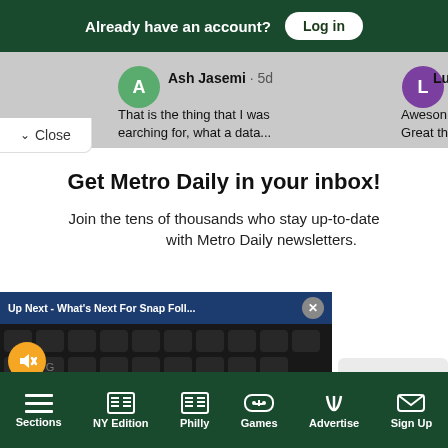Already have an account? Log in
Ash Jasemi · 5d
That is the thing that I was searching for, what a data...
Lu
Aweson Great th
Close
Get Metro Daily in your inbox!
Join the tens of thousands who stay up-to-date with Metro Daily newsletters.
[Figure (screenshot): Video ad overlay showing Snapchat logo on a yellow phone on a keyboard background. Top bar reads 'Up Next - What's Next For Snap Foll...' with a close X button. Ad label shows 'Ad 1 of 1 (0:19)'. Mute button visible (orange circle with mute icon).]
tter
Sections  NY Edition  Philly  Games  Advertise  Sign Up